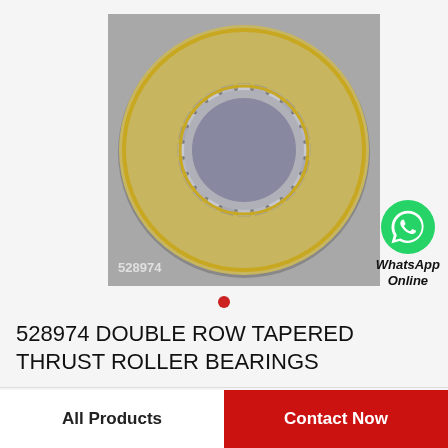[Figure (photo): Tapered thrust roller bearing (part number 528974), viewed from above showing circular arrangement of tapered rollers in a brass/gold-colored cage, on a gray background.]
WhatsApp Online
528974 DOUBLE ROW TAPERED THRUST ROLLER BEARINGS
All Products
Contact Now